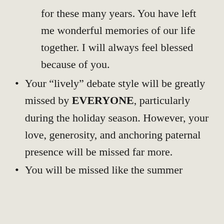for these many years. You have left me wonderful memories of our life together. I will always feel blessed because of you.
Your “lively” debate style will be greatly missed by EVERYONE, particularly during the holiday season. However, your love, generosity, and anchoring paternal presence will be missed far more.
You will be missed like the summer